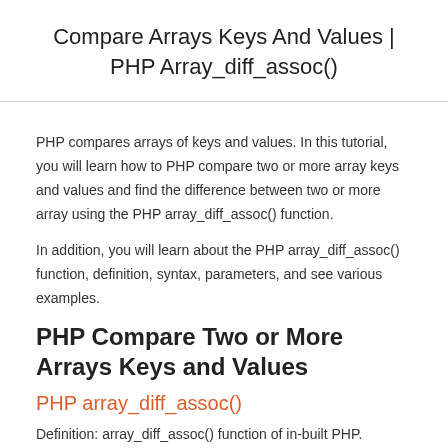Compare Arrays Keys And Values | PHP Array_diff_assoc()
PHP compares arrays of keys and values. In this tutorial, you will learn how to PHP compare two or more array keys and values and find the difference between two or more array using the PHP array_diff_assoc() function.
In addition, you will learn about the PHP array_diff_assoc() function, definition, syntax, parameters, and see various examples.
PHP Compare Two or More Arrays Keys and Values
PHP array_diff_assoc()
Definition: array_diff_assoc() function of in-built PHP.